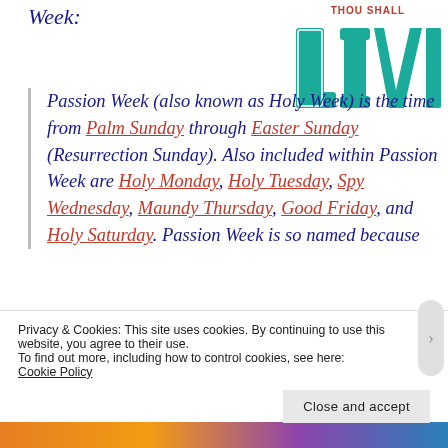Week:
[Figure (logo): Teal and orange 'LIVE' block letter logo with decorative collegiate style font]
Passion Week (also known as Holy Week) is the time from Palm Sunday through Easter Sunday (Resurrection Sunday). Also included within Passion Week are Holy Monday, Holy Tuesday, Spy Wednesday, Maundy Thursday, Good Friday, and Holy Saturday. Passion Week is so named because
Privacy & Cookies: This site uses cookies. By continuing to use this website, you agree to their use.
To find out more, including how to control cookies, see here:
Cookie Policy
Close and accept